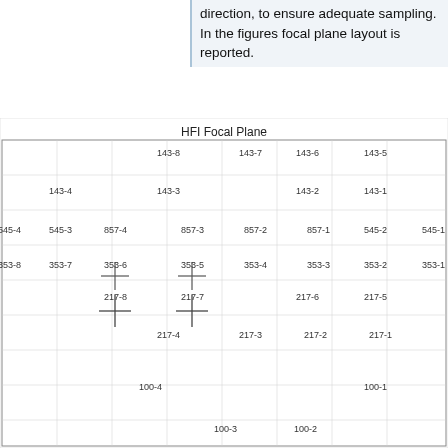direction, to ensure adequate sampling. In the figures focal plane layout is reported.
[Figure (engineering-diagram): HFI Focal Plane diagram showing detector positions labeled with frequency-detector identifiers (e.g. 143-8, 143-7, ..., 100-1, 100-2, 100-3, 100-4). Detectors appear as colored circles and cross-hair symbols: large red circles for 143 GHz unpolarized, red cross-hair symbols for 143 GHz polarized, blue dots for 857 GHz, purple/violet dots and cross-hairs for 353 GHz, dark purple/violet cross-hairs for 217 GHz polarized, pink/magenta dots for 217 GHz unpolarized, blue/indigo dots for 545 GHz, and large red cross-hairs for 100 GHz polarized.]